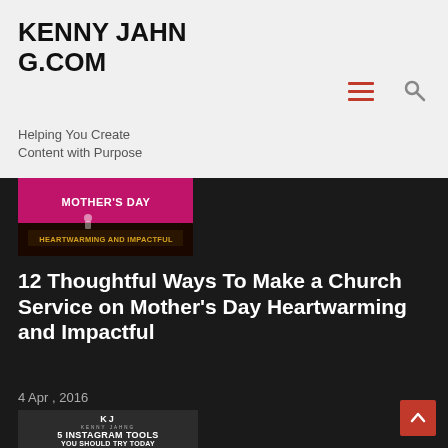KENNYJAHNG.COM — Helping You Create Content with Purpose
[Figure (photo): Mother's Day heartwarming and impactful thumbnail image, pink and black color scheme]
12 Thoughtful Ways To Make a Church Service on Mother's Day Heartwarming and Impactful
4 Apr , 2016
[Figure (photo): Instagram Tools You Should Try Today - KJ Kenny Jahng promotional card image]